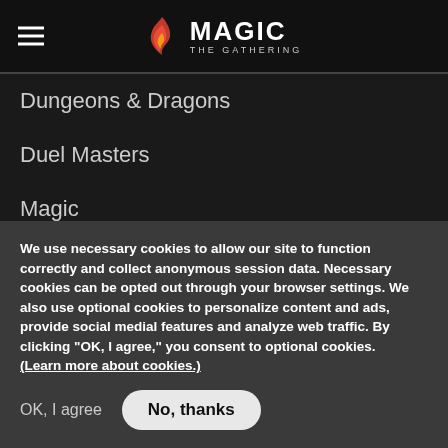Magic: The Gathering navigation header with hamburger menu
Dungeons & Dragons
Duel Masters
Magic
[Figure (logo): Wizards of the Coast logo with Hasbro badge and Privacy Certified seal]
We use necessary cookies to allow our site to function correctly and collect anonymous session data. Necessary cookies can be opted out through your browser settings. We also use optional cookies to personalize content and ads, provide social medial features and analyze web traffic. By clicking "OK, I agree," you consent to optional cookies. (Learn more about cookies.)